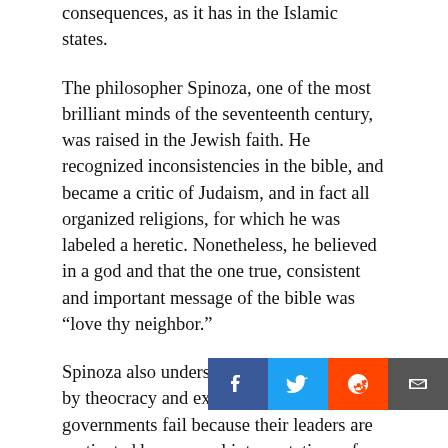consequences, as it has in the Islamic states.
The philosopher Spinoza, one of the most brilliant minds of the seventeenth century, was raised in the Jewish faith. He recognized inconsistencies in the bible, and became a critic of Judaism, and in fact all organized religions, for which he was labeled a heretic. Nonetheless, he believed in a god and that the one true, consistent and important message of the bible was “love thy neighbor.”
Spinoza also understood the danger posed by theocracy and explained that theocratic governments fail because their leaders are motivated by personal interpretations of scripture, rather than doing what is in the public interest. Such subjectivity inevitably leads to disagreement. The thousand-year violent and bloody struggle between the Sunnis and Shiites is the most glaring example, but there are many examples of similar conflict between Christian s, C ch of England and the Catholic Church during the reign